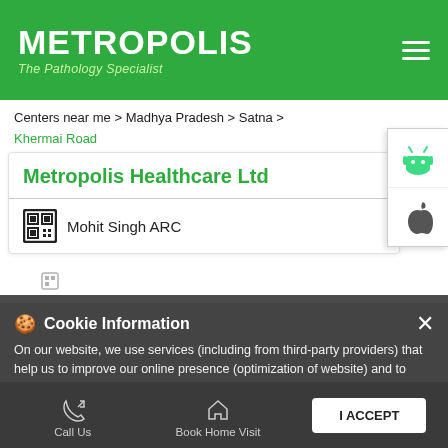[Figure (logo): Metropolis The Pathology Specialist logo on green header with hamburger menu]
Centers near me > Madhya Pradesh > Satna > Khermai Road
Metropolis Healthcare Ltd
Mohit Singh ARC
Shop No 06
Khermai Road
Satna - 485001
Opposite GT Tower
Opens at 08:00 AM
Cookie Information
On our website, we use services (including from third-party providers) that help us to improve our online presence (optimization of website) and to display content that is geared to their interests. We need your consent before being able to use these services.
Call Us   Book Home Visit   Directions